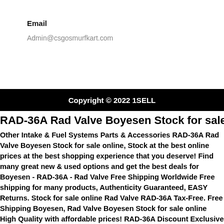Email
Admin@csgosmurfkart.com
Copyright © 2022 1SELL
RAD-36A Rad Valve Boyesen Stock for sale online
Other Intake & Fuel Systems Parts & Accessories RAD-36A Rad Valve Boyesen Stock for sale online, Stock at the best online prices at the best shopping experience that you deserve! Find many great new & used options and get the best deals for Boyesen - RAD-36A - Rad Valve Free Shipping Worldwide Free shipping for many products, Authenticity Guaranteed, EASY Returns. Stock for sale online Rad Valve RAD-36A Tax-Free. Free Shipping Boyesen, Rad Valve Boyesen Stock for sale online High Quality with affordable prices! RAD-36A Discount Exclusive Brands.